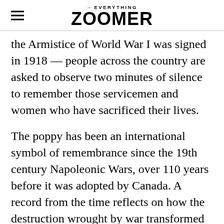→EVERYTHING ZOOMER
the Armistice of World War I was signed in 1918 — people across the country are asked to observe two minutes of silence to remember those servicemen and women who have sacrificed their lives.
The poppy has been an international symbol of remembrance since the 19th century Napoleonic Wars, over 110 years before it was adopted by Canada. A record from the time reflects on how the destruction wrought by war transformed bare land into fields of blood-red flowers which grew around the